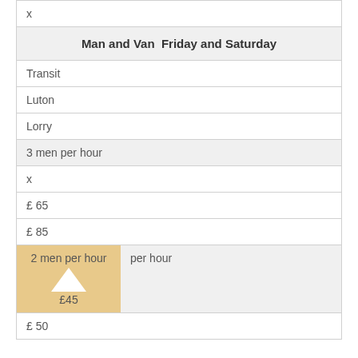| x |
| Man and Van  Friday and Saturday |
| Transit |
| Luton |
| Lorry |
| 3 men per hour |
| x |
| £ 65 |
| £ 85 |
| 2 men per hour  [highlighted: ▲ £45] |
| £ 50 |